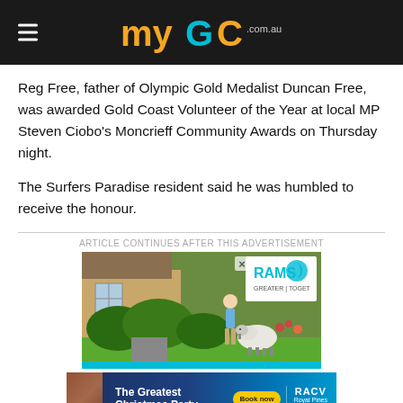myGC.com.au
Reg Free, father of Olympic Gold Medalist Duncan Free, was awarded Gold Coast Volunteer of the Year at local MP Steven Ciobo's Moncrieff Community Awards on Thursday night.
The Surfers Paradise resident said he was humbled to receive the honour.
ARTICLE CONTINUES AFTER THIS ADVERTISEMENT
[Figure (photo): RAMS advertisement showing a man standing on a lawn next to a sheep in front of a house. RAMS logo with tagline GREATER | TOGETHER is visible in the top right corner.]
[Figure (photo): RACV Royal Pines Resort advertisement: The Greatest Christmas Party with a Book now button.]